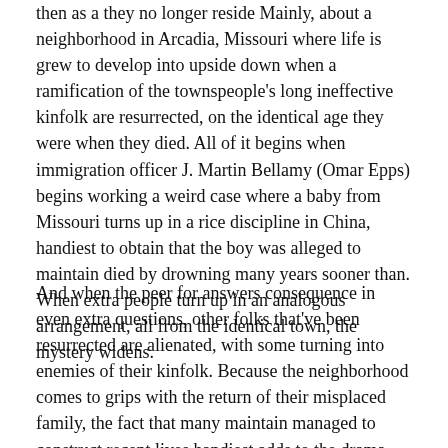then as they no longer reside Mainly, about a neighborhood in Arcadia, Missouri where life is grew to develop into upside down when a ramification of the townspeople's long ineffective kinfolk are resurrected, on the identical age they were when they died. All of it begins when immigration officer J. Martin Bellamy (Omar Epps) begins working a weird case where a baby from Missouri turns up in a rice discipline in China, handiest to obtain that the boy was alleged to maintain died by drowning many years sooner than. When extra people turn up in an analogous arrangement, all from the identical town, the mystery widens.
And when the peer for answers consequence in even extra questions, other folks that've been resurrected are alienated, with some turning into enemies of their kinfolk. Because the neighborhood comes to grips with the return of their misplaced family, the fact that many maintain managed to construct recent lives handiest adds to the drama. Despite the fact that many would love to